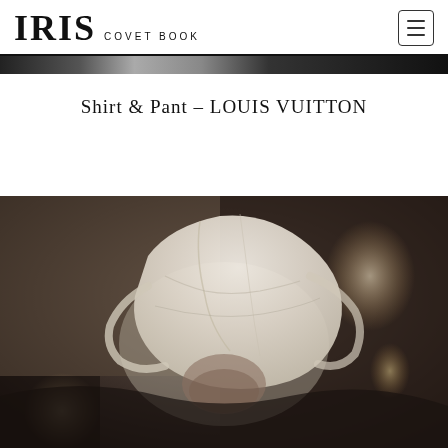IRIS COVET BOOK
Shirt & Pant – LOUIS VUITTON
[Figure (photo): Black and white fashion photograph of a figure bending forward, wearing a white flowing shirt or fabric draped over their head, with blurred bokeh lights in the background, shot in a dark interior setting.]